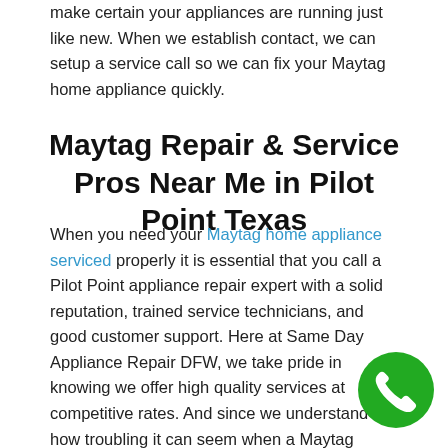make certain your appliances are running just like new. When we establish contact, we can setup a service call so we can fix your Maytag home appliance quickly.
Maytag Repair & Service Pros Near Me in Pilot Point Texas
When you need your Maytag home appliance serviced properly it is essential that you call a Pilot Point appliance repair expert with a solid reputation, trained service technicians, and good customer support. Here at Same Day Appliance Repair DFW, we take pride in knowing we offer high quality services at competitive rates. And since we understand how troubling it can seem when a Maytag home appliance isn't working, our trucks are fully equipped with all the parts we require to
[Figure (illustration): Green circular phone call button icon in bottom-right corner]